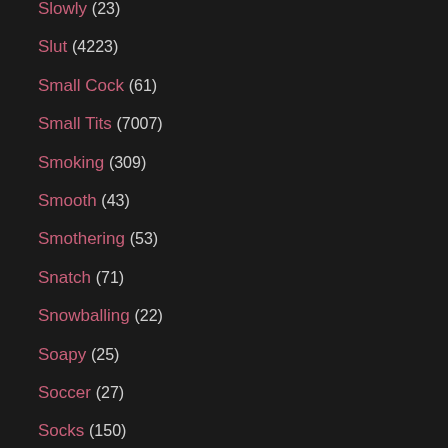Slowly (23)
Slut (4223)
Small Cock (61)
Small Tits (7007)
Smoking (309)
Smooth (43)
Smothering (53)
Snatch (71)
Snowballing (22)
Soapy (25)
Soccer (27)
Socks (150)
Sodomized (42)
Softcore (3499)
Solarium (16)
Solo (4255)